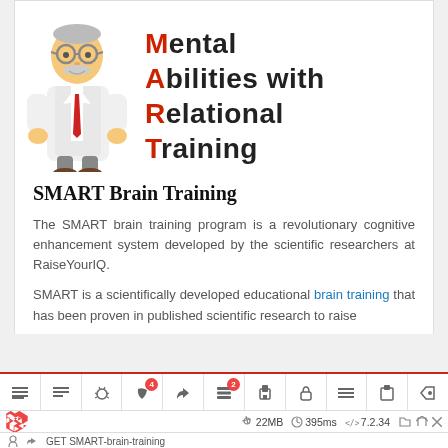[Figure (illustration): Doctor/scientist character illustration (cartoon man with lab coat, glasses, beard) alongside SMART acronym text: Mental Abilities with Relational Training, with colored first letters (M, A, R, T in red/orange)]
SMART Brain Training
The SMART brain training program is a revolutionary cognitive enhancement system developed by the scientific researchers at RaiseYourIQ.
SMART is a scientifically developed educational brain training that has been proven in published scientific research to raise
[Figure (screenshot): Web developer toolbar with icons, badges (4 and 2), and status bar showing 22MB, 395ms, 7.2.34, Laravel logo, and GET SMART-brain-training route info]